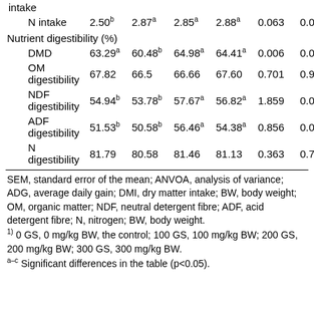|  | 0 GS | 100 GS | 200 GS | 300 GS | SEM | P |
| --- | --- | --- | --- | --- | --- | --- |
| intake |  |  |  |  |  |  |
| N intake | 2.50b | 2.87a | 2.85a | 2.88a | 0.063 | 0.03 |
| Nutrient digestibility (%) |  |  |  |  |  |  |
| DMD | 63.29a | 60.48b | 64.98a | 64.41a | 0.006 | 0.04 |
| OM digestibility | 67.82 | 66.5 | 66.66 | 67.60 | 0.701 | 0.90 |
| NDF digestibility | 54.94b | 53.78b | 57.67a | 56.82a | 1.859 | 0.03 |
| ADF digestibility | 51.53b | 50.58b | 56.46a | 54.38a | 0.856 | 0.04 |
| N digestibility | 81.79 | 80.58 | 81.46 | 81.13 | 0.363 | 0.70 |
SEM, standard error of the mean; ANVOA, analysis of variance; ADG, average daily gain; DMI, dry matter intake; BW, body weight; OM, organic matter; NDF, neutral detergent fibre; ADF, acid detergent fibre; N, nitrogen; BW, body weight.
1) 0 GS, 0 mg/kg BW, the control; 100 GS, 100 mg/kg BW; 200 GS, 200 mg/kg BW; 300 GS, 300 mg/kg BW.
a-c Significant differences in the table (p<0.05).